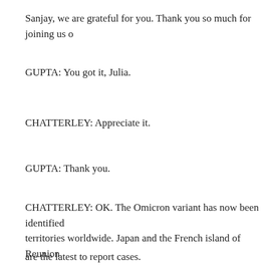Sanjay, we are grateful for you. Thank you so much for joining us o
GUPTA: You got it, Julia.
CHATTERLEY: Appreciate it.
GUPTA: Thank you.
CHATTERLEY: OK. The Omicron variant has now been identified territories worldwide. Japan and the French island of Reunion are the latest to report cases.
It also appears Omicron has been in Europe longer than we thought found in a sample from November 19th. That's a week